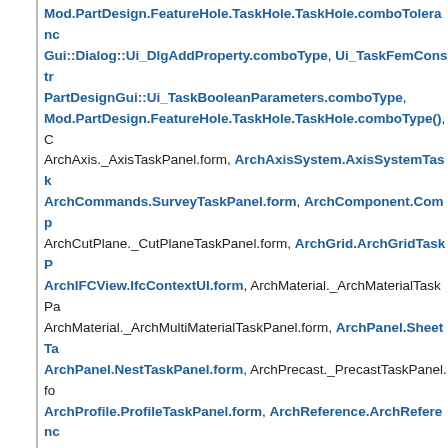Mod.PartDesign.FeatureHole.TaskHole.TaskHole.comboTolerance, Gui::Dialog::Ui_DlgAddProperty.comboType, Ui_TaskFemConstraint, PartDesignGui::Ui_TaskBooleanParameters.comboType, Mod.PartDesign.FeatureHole.TaskHole.TaskHole.comboType(), ArchAxis._AxisTaskPanel.form, ArchAxisSystem.AxisSystemTaskPanel, ArchCommands.SurveyTaskPanel.form, ArchComponent.ComponentTaskPanel, ArchCutPlane._CutPlaneTaskPanel.form, ArchGrid.ArchGridTaskPanel, ArchIFCView.IfcContextUI.form, ArchMaterial._ArchMaterialTaskPanel, ArchMaterial._ArchMultiMaterialTaskPanel.form, ArchPanel.SheetTaskPanel, ArchPanel.NestTaskPanel.form, ArchPrecast._PrecastTaskPanel.form, ArchProfile.ProfileTaskPanel.form, ArchReference.ArchReferenceTaskPanel, ArchRoof._RoofTaskPanel.form, ArchSchedule.ArchScheduleTaskPanel, ArchSectionPlane.SectionPlaneTaskPanel.form, ArchStructure.StructureTaskPanel, ArchWindow._ArchWindowTaskPanel.form, DraftGui.DraftTaskPanel, DraftGui.FacebinderTaskPanel.form, draftguitools.gui_annotation, draftguitools.gui_groups.Ui_AddNamedGroup.form, draftguitools.gui_hatch.Draft_Hatch_TaskPanel.form, draftguitools.gui_setstyle.Draft_SetStyle_TaskPanel.form, drafttaskpanels.task_circulararray.TaskPanelCircularArray.form, drafttaskpanels.task_orthoarray.TaskPanelOrthoArray.form, drafttaskpanels.task_polararray.TaskPanelPolarArray.form